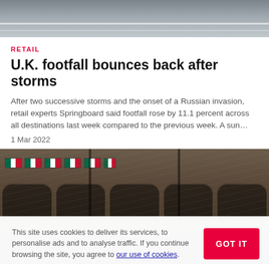[Figure (photo): Top portion of a road/street viewed from above, grey asphalt]
RETAIL
U.K. footfall bounces back after storms
After two successive storms and the onset of a Russian invasion, retail experts Springboard said footfall rose by 11.1 percent across all destinations last week compared to the previous week. A sun…
1 Mar 2022
[Figure (photo): Rainy scene of a historic building facade with Mexican flags hanging, arched windows, rain falling]
This site uses cookies to deliver its services, to personalise ads and to analyse traffic. If you continue browsing the site, you agree to our use of cookies.